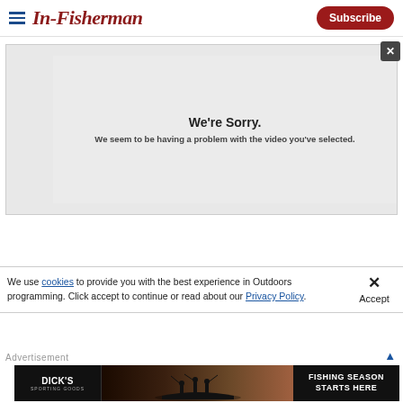In-Fisherman — Subscribe
[Figure (screenshot): Video player showing error message: We're Sorry. We seem to be having a problem with the video you've selected.]
We're Sorry.
We seem to be having a problem with the video you've selected.
We use cookies to provide you with the best experience in Outdoors programming. Click accept to continue or read about our Privacy Policy.
Advertisement
[Figure (photo): Dick's Sporting Goods advertisement: FISHING SEASON STARTS HERE with silhouette of fishermen on boat at sunset]